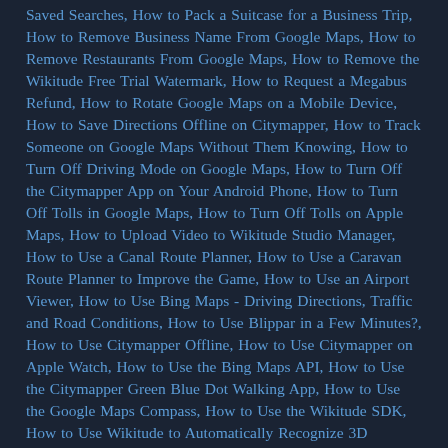Saved Searches, How to Pack a Suitcase for a Business Trip, How to Remove Business Name From Google Maps, How to Remove Restaurants From Google Maps, How to Remove the Wikitude Free Trial Watermark, How to Request a Megabus Refund, How to Rotate Google Maps on a Mobile Device, How to Save Directions Offline on Citymapper, How to Track Someone on Google Maps Without Them Knowing, How to Turn Off Driving Mode on Google Maps, How to Turn Off the Citymapper App on Your Android Phone, How to Turn Off Tolls in Google Maps, How to Turn Off Tolls on Apple Maps, How to Upload Video to Wikitude Studio Manager, How to Use a Canal Route Planner, How to Use a Caravan Route Planner to Improve the Game, How to Use an Airport Viewer, How to Use Bing Maps - Driving Directions, Traffic and Road Conditions, How to Use Blippar in a Few Minutes?, How to Use Citymapper Offline, How to Use Citymapper on Apple Watch, How to Use the Bing Maps API, How to Use the Citymapper Green Blue Dot Walking App, How to Use the Google Maps Compass, How to Use the Wikitude SDK, How to Use Wikitude to Automatically Recognize 3D Models, Important Features of Bing Weather Radar Maps, IRIS, Necoichi, and Petneces Travel Litter Box, Is Adding More Cities to My Citymapper App Worth the Weekly Subscription?, Kings Cross Station Luggage Storage, King's Cross Station Map, Leica CityMapper, London Paddington Station Map - How to Get There, London